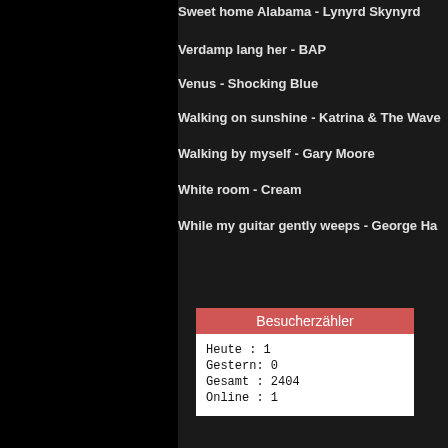Sweet home Alabama - Lynyrd Skynyrd
Verdamp lang her - BAP
Venus - Shocking Blue
Walking on sunshine - Katrina & The Waves
Walking by myself - Gary Moore
White room - Cream
While my guitar gently weeps - George Harrison
| Besucherzähler |
| --- |
| Heute   : 1 |
| Gestern: 0 |
| Gesamt  : 2404 |
| Online  : 1 |